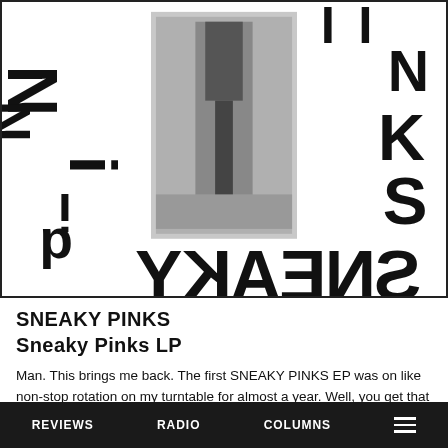[Figure (illustration): Album cover art for Sneaky Pinks LP. Black and white collage with large distorted/rotated letters spelling 'SNEAKY PINKS' around a central black and white photograph of a figure. The text is presented in fragmented, rotated letterforms — some upside down or mirrored — with 'SNEAKY' across the bottom in mirrored/reversed text and 'PINKS' vertical on the right side.]
SNEAKY PINKS
Sneaky Pinks LP
Man. This brings me back. The first SNEAKY PINKS EP was on like non-stop rotation on my turntable for almost a year. Well, you get that classic and more on this new compilation LP. While none of the rest quite lives up to that EP for me, this is still a raging example of super trashy, non-wimpy, ultra-bratty garage
REVIEWS   RADIO   COLUMNS   ☰